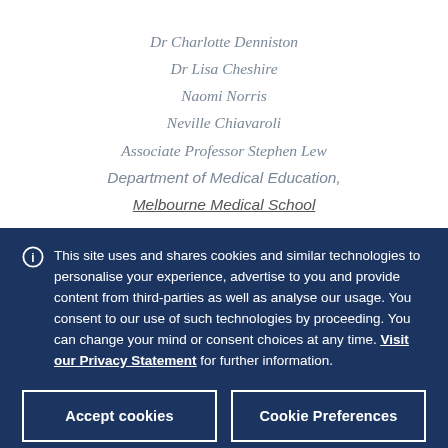Dr Charlotte Denniston
Dr Lisa Cheshire
Naomi Norris
Neville Chiavaroli
Associate Professor Stephen Lew
Department of Medical Education,
Melbourne Medical School
This site uses and shares cookies and similar technologies to personalise your experience, advertise to you and provide content from third-parties as well as analyse our usage. You consent to our use of such technologies by proceeding. You can change your mind or consent choices at any time. Visit our Privacy Statement for further information.
Accept cookies
Cookie Preferences